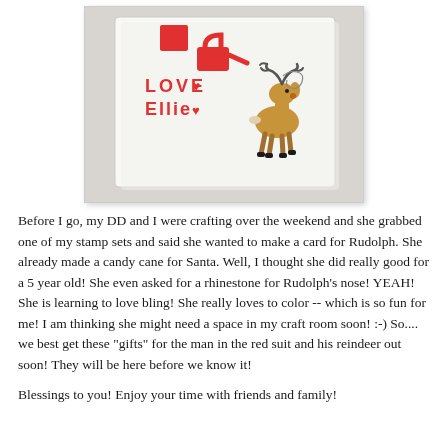[Figure (photo): A handmade Christmas card with red marker drawings and text reading 'LOVE Ellie' with hearts and watering can shapes, plus a stamped reindeer image with decorative swirls (Rudolph).]
Before I go, my DD and I were crafting over the weekend and she grabbed one of my stamp sets and said she wanted to make a card for Rudolph. She already made a candy cane for Santa. Well, I thought she did really good for a 5 year old! She even asked for a rhinestone for Rudolph's nose! YEAH! She is learning to love bling! She really loves to color -- which is so fun for me! I am thinking she might need a space in my craft room soon! :-) So.... we best get these "gifts" for the man in the red suit and his reindeer out soon! They will be here before we know it!
Blessings to you! Enjoy your time with friends and family!